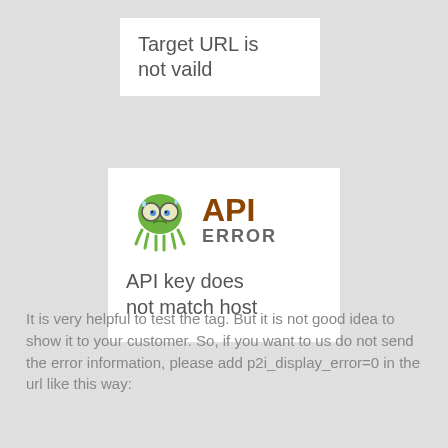Target URL is not vaild
[Figure (illustration): API ERROR logo with a green cartoon octopus/alien character with glasses, next to bold text reading 'API' in brown and 'ERROR' in gray]
API key does not match host
It is very helpful to test the tag. But it is not good idea to show it to your customer. So, if you want to us do not send the error information, please add p2i_display_error=0 in the url like this way: